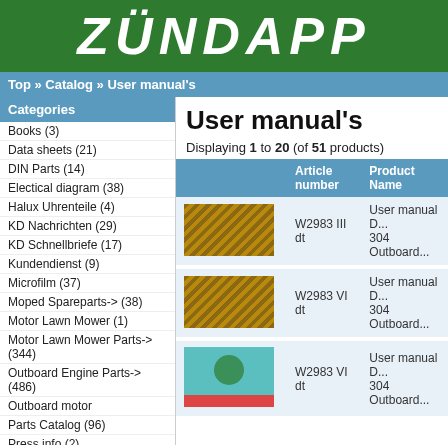[Figure (logo): Zündapp logo in white text on green background]
Top » Catalog » User manual's
Categories
Books (3)
Data sheets (21)
DIN Parts (14)
Electical diagram (38)
Halux Uhrenteile (4)
KD Nachrichten (29)
KD Schnellbriefe (17)
Kundendienst (9)
Microfilm (37)
Moped Spareparts-> (38)
Motor Lawn Mower (1)
Motor Lawn Mower Parts-> (344)
Outboard Engine Parts-> (486)
Outboard motor
Parts Catalog (96)
Press info (2)
Price lists (62)
Promotion Article (22)
Promotional brochure (134)
User manual's
Displaying 1 to 20 (of 51 products)
|  | Article number | Product Name |
| --- | --- | --- |
| [image] | W2983 III dt | User manual D... 304 Outboard... |
| [image] | W2983 VI dt | User manual D... 304 Outboard... |
| [photo] | W2983 VI dt | User manual D... 304 Outboard... |